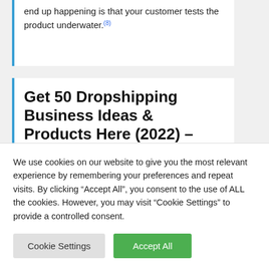end up happening is that your customer tests the product underwater.(8)
Get 50 Dropshipping Business Ideas & Products Here (2022) – SaleHoo
We use cookies on our website to give you the most relevant experience by remembering your preferences and repeat visits. By clicking "Accept All", you consent to the use of ALL the cookies. However, you may visit "Cookie Settings" to provide a controlled consent.